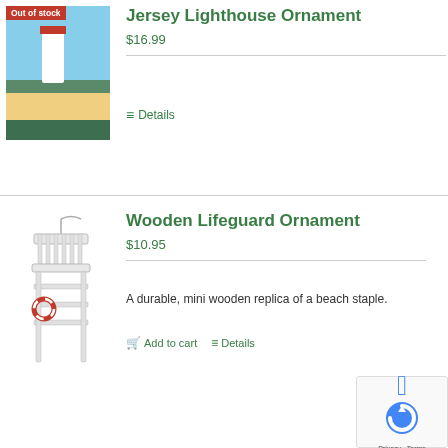[Figure (photo): Jersey Lighthouse Christmas ornament, round ball with lighthouse painting, surrounded by green Christmas tree branches, with 'Out of stock' red badge in top-left corner]
Jersey Lighthouse Ornament
$16.99
Details
[Figure (photo): Wooden Lifeguard Chair ornament, white wooden lifeguard stand replica with red accents, shown on white background]
Wooden Lifeguard Ornament
$10.95
A durable, mini wooden replica of a beach staple.
Add to cart   Details